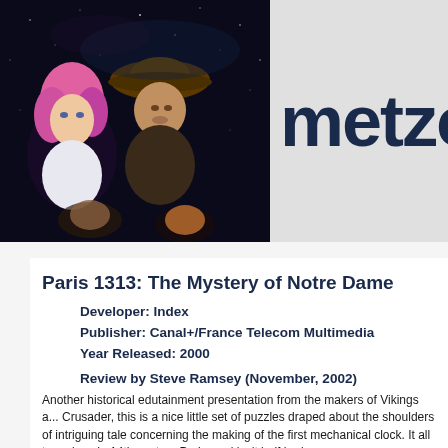[Figure (photo): Characters from the game Paris 1313 against a starry night sky background: a pink-haired fantasy woman on the left, a man in a wide-brimmed hat in the center, and two partially visible figures below.]
metzon
Paris 1313: The Mystery of Notre Dame
Developer:  Index
Publisher:  Canal+/France Telecom Multimedia
Year Released:  2000
Review by Steve Ramsey (November, 2002)
Another historical edutainment presentation from the makers of Vikings a... Crusader, this is a nice little set of puzzles draped about the shoulders of intriguing tale concerning the making of the first mechanical clock. It all ta... place in 14th century Paris, and isn't half bad.
Ch...